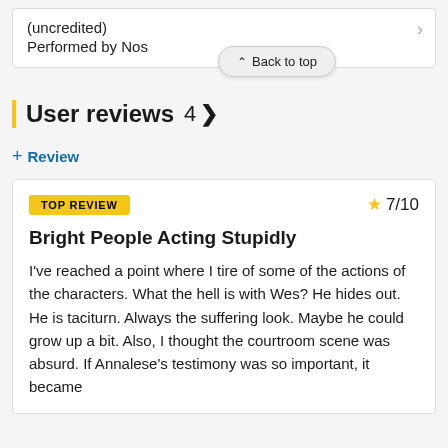(uncredited)
Performed by Nos
Back to top
User reviews 4 >
+ Review
TOP REVIEW
7/10
Bright People Acting Stupidly
I've reached a point where I tire of some of the actions of the characters. What the hell is with Wes? He hides out. He is taciturn. Always the suffering look. Maybe he could grow up a bit. Also, I thought the courtroom scene was absurd. If Annalese's testimony was so important, it became